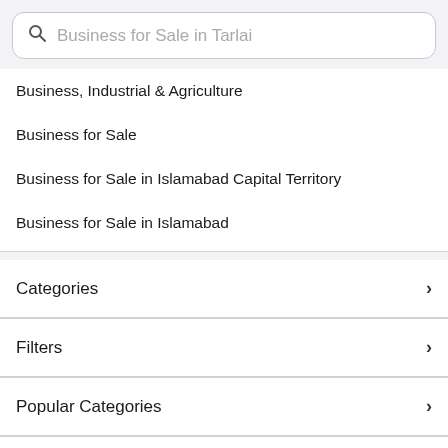Business for Sale in Tarlai
Business, Industrial & Agriculture
Business for Sale
Business for Sale in Islamabad Capital Territory
Business for Sale in Islamabad
Categories
Filters
Popular Categories
Trending Searches